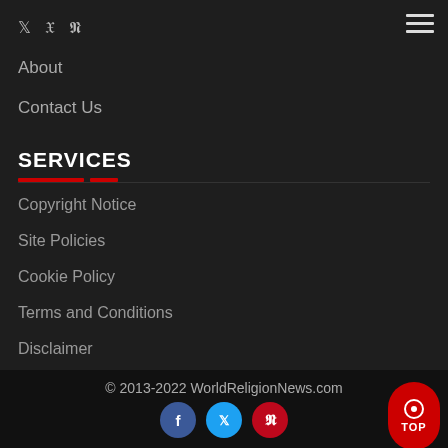Social icons: Twitter, Facebook, Pinterest | Hamburger menu
About
Contact Us
SERVICES
Copyright Notice
Site Policies
Cookie Policy
Terms and Conditions
Disclaimer
© 2013-2022 WorldReligionNews.com